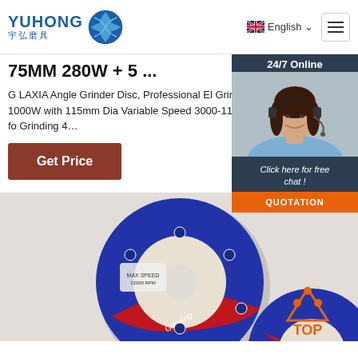YUHONG 宇弘磨具 — English
75MM 280W + 5 ...
G LAXIA Angle Grinder Disc, Professional El Grinder High Power 1000W with 115mm Dia Variable Speed 3000-11000RPM Suitable fo Grinding 4…
Get Price
[Figure (photo): Customer service representative (woman with headset) with '24/7 Online' header, 'Click here for free chat!' text, and orange QUOTATION button, on dark navy background]
[Figure (photo): Grinding disc product photo — dark blue/red grinding wheel discs on light background, with orange TOP button in bottom right]